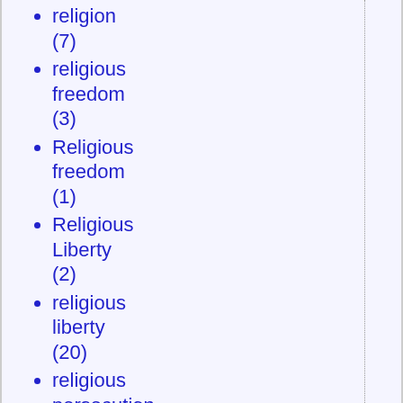religion (7)
religious freedom (3)
Religious freedom (1)
Religious Liberty (2)
religious liberty (20)
religious persecution (11)
religious right (2)
remuneration (1)
Rep. Giffords (1)